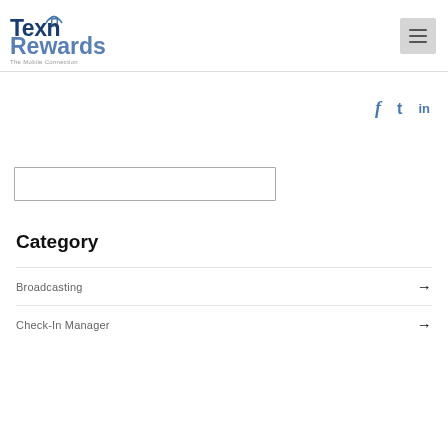Texn Rewards — The Mobile Connection
[Figure (logo): Texn Rewards logo with wifi signal arcs above the n, phone icon, tagline 'The Mobile Connection']
[Figure (other): Hamburger menu icon (three horizontal lines) in a gray square button]
[Figure (other): Social media icons: Facebook (f), Twitter (bird/t), LinkedIn (in)]
[Figure (other): Empty search input box]
Category
Broadcasting →
Check-In Manager →